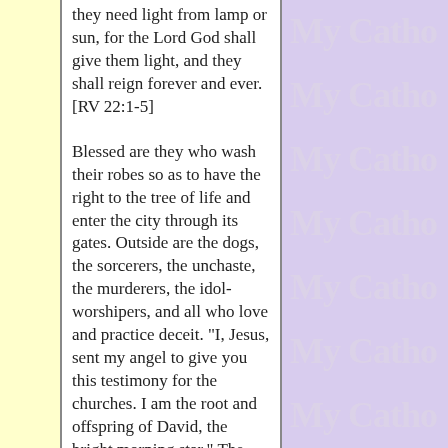they need light from lamp or sun, for the Lord God shall give them light, and they shall reign forever and ever. [RV 22:1-5]
Blessed are they who wash their robes so as to have the right to the tree of life and enter the city through its gates. Outside are the dogs, the sorcerers, the unchaste, the murderers, the idol-worshipers, and all who love and practice deceit. "I, Jesus, sent my angel to give you this testimony for the churches. I am the root and offspring of David, the bright morning star." The Spirit and the bride say, "Come." Let the hearer say, "Come." Let the one who thirsts come